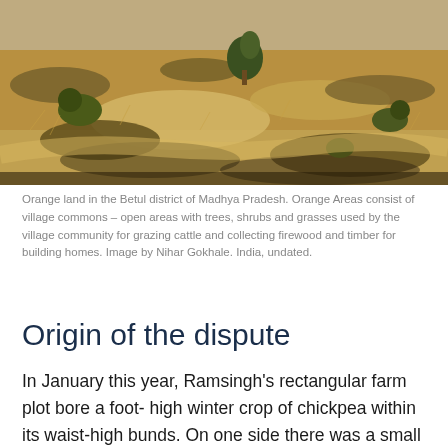[Figure (photo): Photograph of orange land showing dry scrubby terrain with sparse grasses, sandy soil paths, and small shrubs in the Betul district of Madhya Pradesh, India.]
Orange land in the Betul district of Madhya Pradesh. Orange Areas consist of village commons – open areas with trees, shrubs and grasses used by the village community for grazing cattle and collecting firewood and timber for building homes. Image by Nihar Gokhale. India, undated.
Origin of the dispute
In January this year, Ramsingh's rectangular farm plot bore a foot- high winter crop of chickpea within its waist-high bunds. On one side there was a small stream, from which he